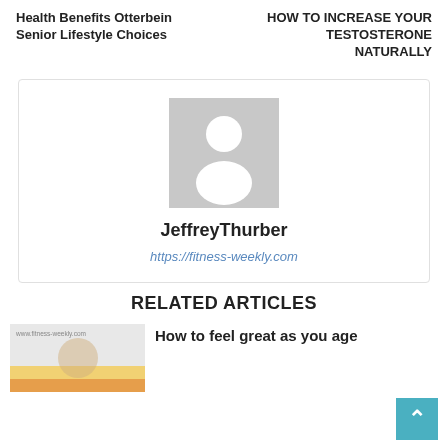Health Benefits Otterbein Senior Lifestyle Choices
HOW TO INCREASE YOUR TESTOSTERONE NATURALLY
[Figure (illustration): Gray placeholder avatar image with silhouette of a person]
JeffreyThurber
https://fitness-weekly.com
RELATED ARTICLES
[Figure (photo): Thumbnail image with www.fitness-weekly.com label]
How to feel great as you age